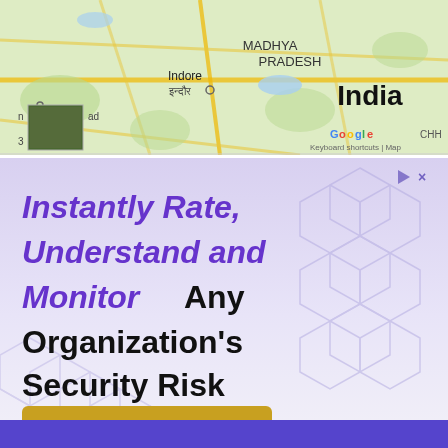[Figure (map): Google Maps view showing Madhya Pradesh region of India, with Indore (इन्दौर) labeled, along with text 'MADHYA PRADESH' and 'India'. Shows road network on a light green/tan map background. Includes a small satellite thumbnail inset, Google logo, and 'Keyboard shortcuts | Map' text in bottom right. Partial 'CHH' text visible at far right.]
[Figure (infographic): Advertisement with light lavender/purple gradient background featuring hexagon pattern. Bold purple italic text reads 'Instantly Rate, Understand and Monitor' followed by black bold text 'Any Organization's Security Risk'. Below is a golden/yellow rounded rectangle button with bold black text 'GET MY SCORE'. Small play and X icons in top right corner.]
[Figure (other): Bottom portion of page showing a solid purple/violet banner strip.]